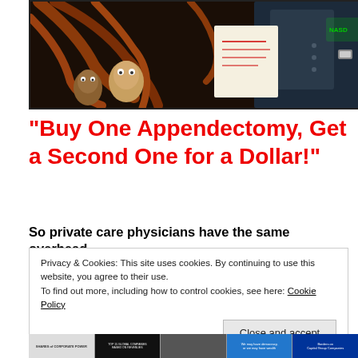[Figure (illustration): A fantasy/political cartoon illustration showing a suited man (businessman or lobbyist) with octopus tentacles wrapped around him and a document. Other frightened figures visible in the background. Dark dramatic style.]
“Buy One Appendectomy, Get a Second One for a Dollar!”
So private care physicians have the same overhead,
Privacy & Cookies: This site uses cookies. By continuing to use this website, you agree to their use.
To find out more, including how to control cookies, see here: Cookie Policy
Close and accept
[Figure (infographic): Bottom strip showing multiple small infographic panels including corporate power charts and other political/economic graphics.]